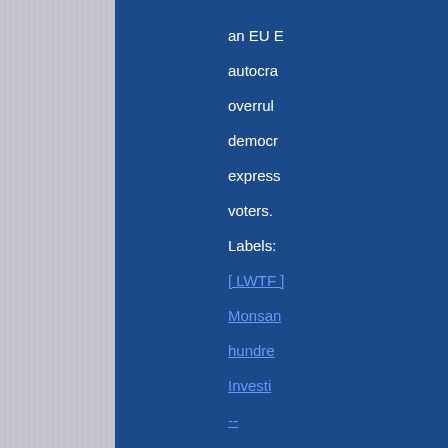an EU E autocra overrul democr express voters. Labels: [ LWTF ] Monsan hundre Investi -- Ladies gentlem has bee around Monsan corrupt